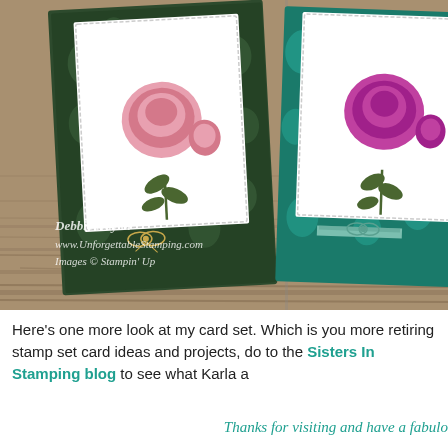[Figure (photo): Two handmade floral greeting cards displayed on a wooden surface. Left card has dark green damask patterned background with a pink peony flower on a white scalloped-edge panel and a gold twine bow. Right card has teal/green damask background with a magenta/purple peony on a white scalloped-edge panel with a green gingham ribbon. Watermark text reads: Debbie Naylor, www.UnforgettableStamping.com, Images © Stampin' Up]
Here's one more look at my card set.  Which is you more retiring stamp set card ideas and projects, do to the Sisters In Stamping blog to see what Karla a
Thanks for visiting and have a fabulo